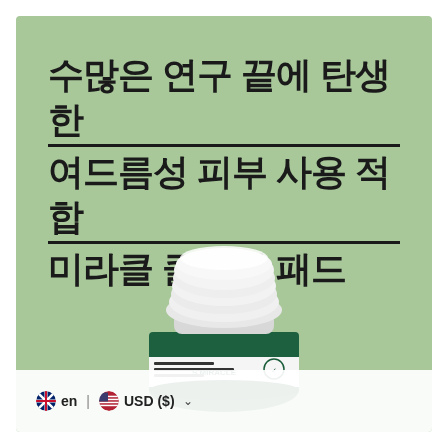[Figure (photo): Product advertisement with light green background showing a white cosmetic jar (SOME BY MI Miracle Clear Pad) and bold Korean text headline. Footer shows language/currency selector: en | USD ($)]
수많은 연구 끝에 탄생한 여드름성 피부 사용 적합 미라클 클리어 패드
en | USD ($)